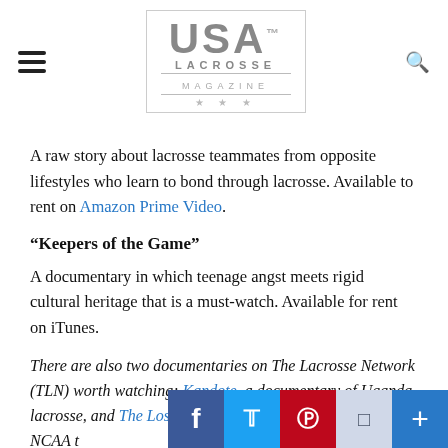USA LACROSSE MAGAZINE
A raw story about lacrosse teammates from opposite lifestyles who learn to bond through lacrosse. Available to rent on Amazon Prime Video.
“Keepers of the Game”
A documentary in which teenage angst meets rigid cultural heritage that is a must-watch. Available for rent on iTunes.
There are also two documentaries on The Lacrosse Network (TLN) worth watching: Kandote, a documentary of Uganda lacrosse, and The Lost Trophy, a d Syracuse’s vacated 1990 NCAA t